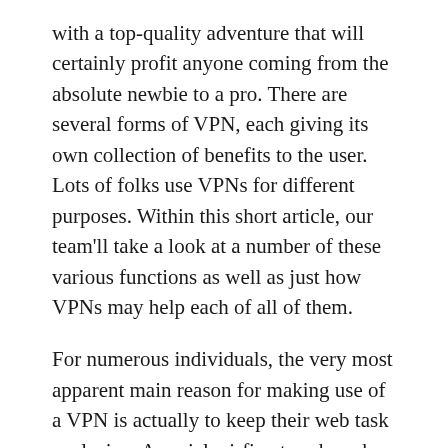with a top-quality adventure that will certainly profit anyone coming from the absolute newbie to a pro. There are several forms of VPN, each giving its own collection of benefits to the user. Lots of folks use VPNs for different purposes. Within this short article, our team'll take a look at a number of these various functions as well as just how VPNs may help each of all of them.
For numerous individuals, the very most apparent main reason for making use of a VPN is actually to keep their web task exclusive. A social wi-fi network such as Facebook, Gmail, or even Twitter uses a public (and also therefore prone) network of Wi-Fi warm areas that every visitor to the web site is counted on to attach to.
An additional well-liked usage for a VPN is for linking pair of pcs by means of a protected Wi-Fi